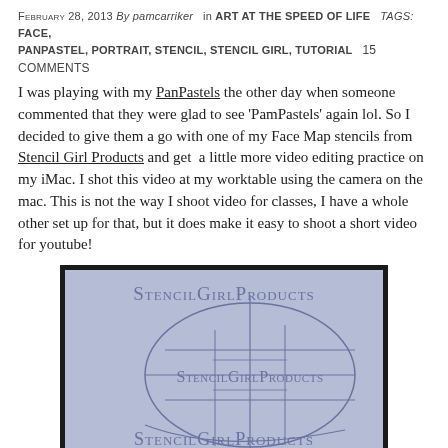February 28, 2013 By pamcarriker in ART AT THE SPEED OF LIFE Tags: FACE, PANPASTEL, PORTRAIT, STENCIL, STENCIL GIRL, TUTORIAL  15 Comments
I was playing with my PanPastels the other day when someone commented that they were glad to see 'PamPastels' again lol. So I decided to give them a go with one of my Face Map stencils from Stencil Girl Products and get a little more video editing practice on my iMac. I shot this video at my worktable using the camera on the mac. This is not the way I shoot video for classes, I have a whole other set up for that, but it does make it easy to shoot a short video for youtube!
[Figure (photo): A blue stencil product showing the Stencil Girl Products face map stencil with an oval face outline and grid lines, with 'StencilGirlProducts' text printed three times at top, middle, and bottom of the stencil against a periwinkle blue background.]